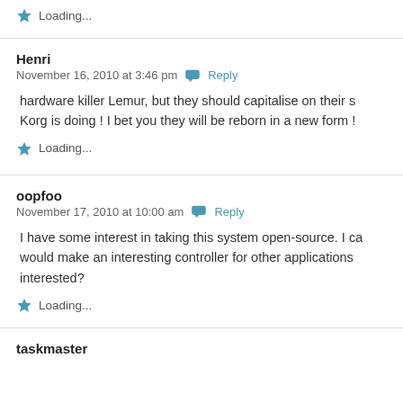Loading...
Henri
November 16, 2010 at 3:46 pm   Reply
hardware killer Lemur, but they should capitalise on their s Korg is doing ! I bet you they will be reborn in a new form !
Loading...
oopfoo
November 17, 2010 at 10:00 am   Reply
I have some interest in taking this system open-source. I ca would make an interesting controller for other applications interested?
Loading...
taskmaster